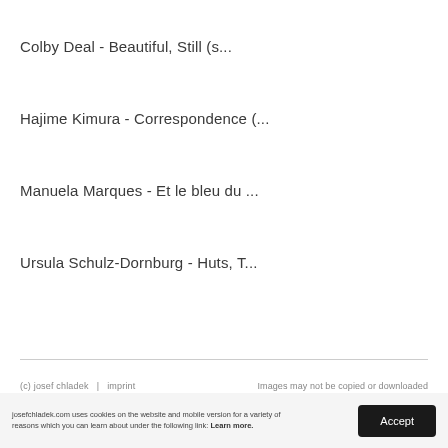Colby Deal - Beautiful, Still (s...
Hajime Kimura - Correspondence (...
Manuela Marques - Et le bleu du ...
Ursula Schulz-Dornburg - Huts, T...
(c) josef chladek  |  imprint                    Images may not be copied or downloaded
josefchladek.com uses cookies on the website and mobile version for a variety of reasons which you can learn about under the following link: Learn more.